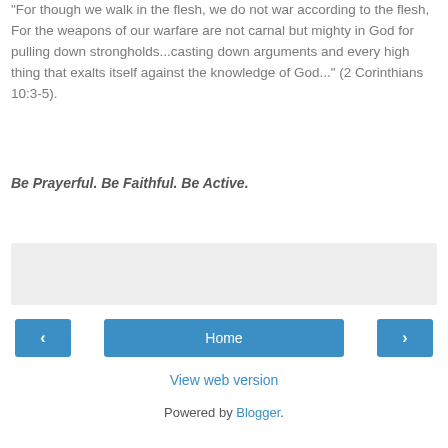"For though we walk in the flesh, we do not war according to the flesh, For the weapons of our warfare are not carnal but mighty in God for pulling down strongholds...casting down arguments and every high thing that exalts itself against the knowledge of God..." (2 Corinthians 10:3-5).
Be Prayerful. Be Faithful. Be Active.
[Figure (other): Gray placeholder banner bar]
‹
Home
›
View web version
Powered by Blogger.